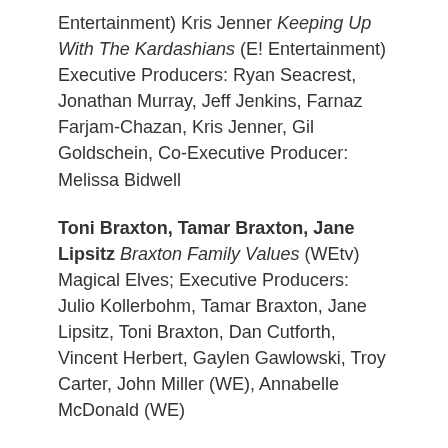Entertainment) Kris Jenner Keeping Up With The Kardashians (E! Entertainment) Executive Producers: Ryan Seacrest, Jonathan Murray, Jeff Jenkins, Farnaz Farjam-Chazan, Kris Jenner, Gil Goldschein, Co-Executive Producer: Melissa Bidwell
Toni Braxton, Tamar Braxton, Jane Lipsitz Braxton Family Values (WEtv) Magical Elves; Executive Producers: Julio Kollerbohm, Tamar Braxton, Jane Lipsitz, Toni Braxton, Dan Cutforth, Vincent Herbert, Gaylen Gawlowski, Troy Carter, John Miller (WE), Annabelle McDonald (WE)
Bette Midler Bette Midler: The Showgirl Must Go On (HBO) Encanto Enterprises and Funny Business in association with HBO Entertainment; Executive Producer: Bette Midler: Producers: Bette Midler, Seanne Farmer; Writers: Bette Midler, Eric Kornfeld, Bruce